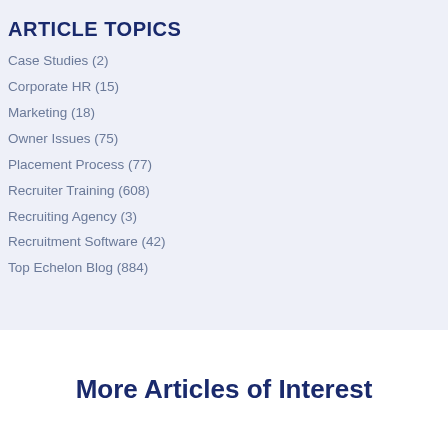ARTICLE TOPICS
Case Studies (2)
Corporate HR (15)
Marketing (18)
Owner Issues (75)
Placement Process (77)
Recruiter Training (608)
Recruiting Agency (3)
Recruitment Software (42)
Top Echelon Blog (884)
More Articles of Interest